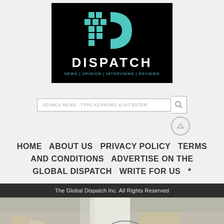[Figure (logo): Global Dispatch logo on black background with teal/cyan graphic D icon, text DISPATCH in white bold, tagline NEWS | OPINION | INTERVIEWS | REVIEWS in teal]
[Figure (screenshot): Search bar with placeholder text SEARCH NEWS - TYPE KEYWORD & HIT ENTER and a search icon button]
[Figure (other): Scroll to top button: circle with upward triangle arrow]
HOME   ABOUT US   PRIVACY POLICY   TERMS AND CONDITIONS   ADVERTISE ON THE GLOBAL DISPATCH   WRITE FOR US   *
The Global Dispatch Inc. All Rights Reserved
[Figure (photo): Partial photo of person in white top preparing food at counter with dog visible at bottom left and basket items]